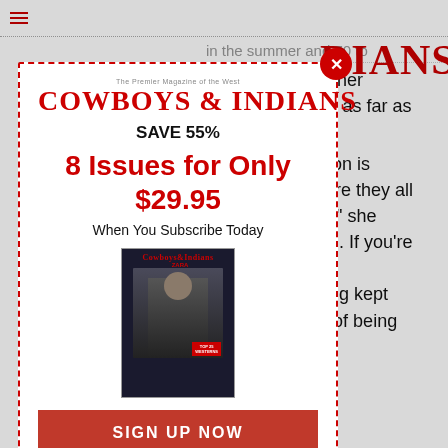[Figure (screenshot): Cowboys & Indians magazine subscription modal overlay on top of an article page. Modal shows logo, SAVE 55%, 8 Issues for Only $29.95, When You Subscribe Today, magazine cover image, and SIGN UP NOW button. Background shows partial article text.]
in the summer and 70 to
There are two other
nd that’s about it as far as
ays the population is
nts to know where they all
ndful of families,” she
nts can be harsh. If you’re
the quiet can be
ed, but something kept
e the challenge of being